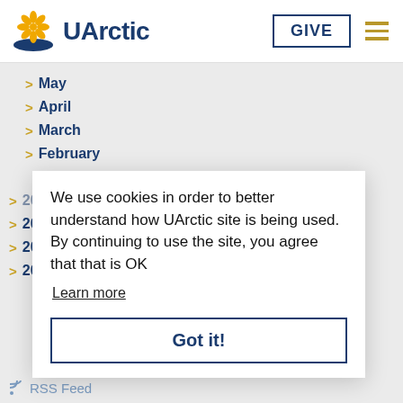UArctic — GIVE button and navigation
> May
> April
> March
> February
> January
> 2009
> 2008
> 2007
> 2006
We use cookies in order to better understand how UArctic site is being used. By continuing to use the site, you agree that that is OK
Learn more
Got it!
RSS Feed